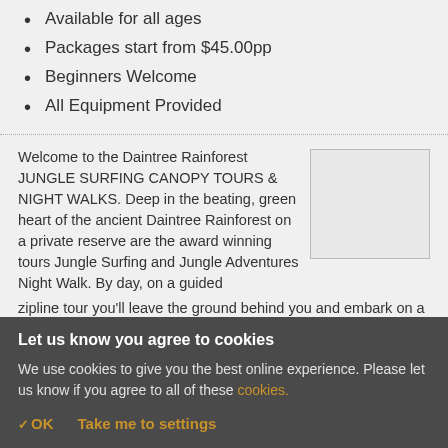Available for all ages
Packages start from $45.00pp
Beginners Welcome
All Equipment Provided
Welcome to the Daintree Rainforest JUNGLE SURFING CANOPY TOURS & NIGHT WALKS. Deep in the beating, green heart of the ancient Daintree Rainforest on a private reserve are the award winning tours Jungle Surfing and Jungle Adventures Night Walk. By day, on a guided zipline tour you'll leave the ground behind you and embark on a voyage of discovery and adventure, high amongst the jungle canopy. By night, armed with a torch, you'll take to one of the rainforest's natural walking trails. A landscape lived in by tiny dragons, serenaded by forest frogs and dancing
[Figure (photo): Photo placeholder image]
Let us know you agree to cookies
We use cookies to give you the best online experience. Please let us know if you agree to all of these cookies.
✓ OK   Take me to settings